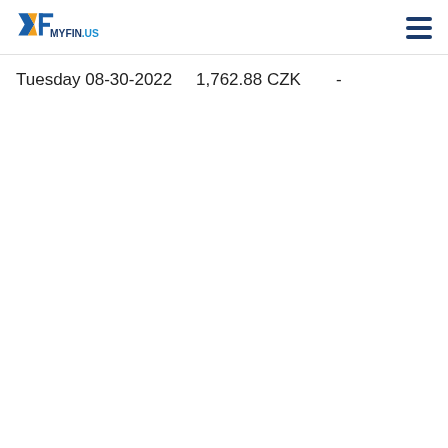[Figure (logo): MYFIN.US logo with stylized M and F letters in blue and orange, with MYFIN.US text]
Tuesday 08-30-2022    1,762.88 CZK    -